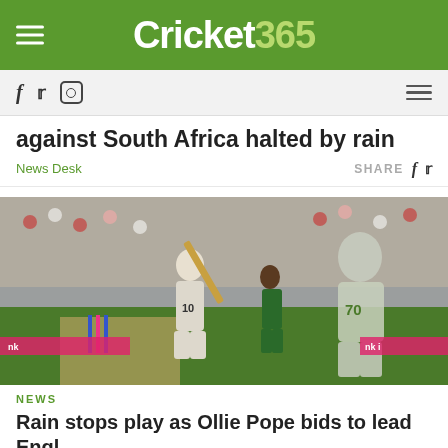Cricket 365
against South Africa halted by rain
News Desk
SHARE
[Figure (photo): Cricket match photo showing an England batsman playing a shot, with South African fielders visible, crowd in background]
NEWS
Rain stops play as Ollie Pope bids to lead England against South Africa